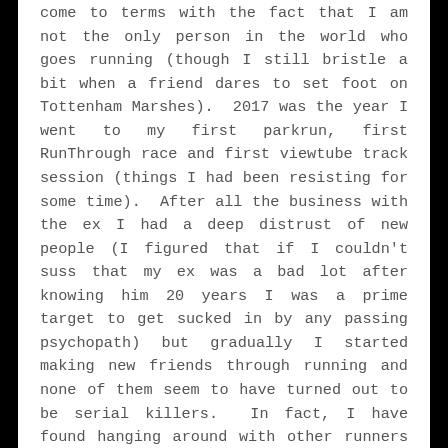come to terms with the fact that I am not the only person in the world who goes running (though I still bristle a bit when a friend dares to set foot on Tottenham Marshes). 2017 was the year I went to my first parkrun, first RunThrough race and first viewtube track session (things I had been resisting for some time). After all the business with the ex I had a deep distrust of new people (I figured that if I couldn't suss that my ex was a bad lot after knowing him 20 years I was a prime target to get sucked in by any passing psychopath) but gradually I started making new friends through running and none of them seem to have turned out to be serial killers. In fact, I have found hanging around with other runners to be quite good for my mental health in itself, especially when compared with my previous habit of hanging out with goths. Goths have a habit of saying things like "I am so sorry I can't